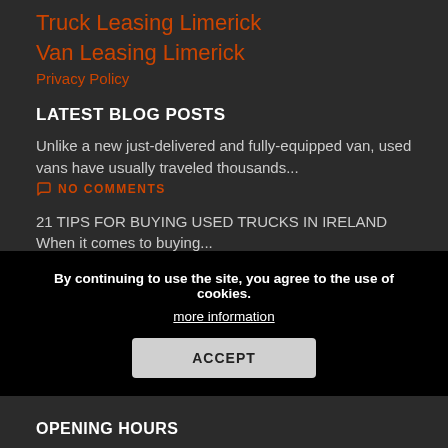Truck Leasing Limerick
Van Leasing Limerick
Privacy Policy
LATEST BLOG POSTS
Unlike a new just-delivered and fully-equipped van, used vans have usually traveled thousands...
NO COMMENTS
21 TIPS FOR BUYING USED TRUCKS IN IRELAND When it comes to buying...
NO COMMENTS
Introducing the Renault Master. Manufactured on a shared platform along t...
NO COMMENTS
By continuing to use the site, you agree to the use of cookies.
more information
ACCEPT
OPENING HOURS